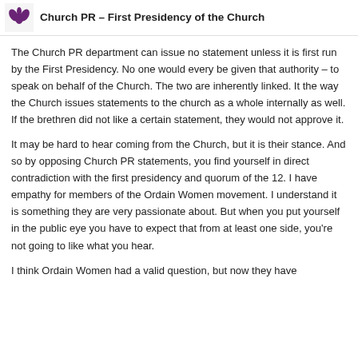Church PR – First Presidency of the Church
The Church PR department can issue no statement unless it is first run by the First Presidency. No one would every be given that authority – to speak on behalf of the Church. The two are inherently linked. It the way the Church issues statements to the church as a whole internally as well. If the brethren did not like a certain statement, they would not approve it.
It may be hard to hear coming from the Church, but it is their stance. And so by opposing Church PR statements, you find yourself in direct contradiction with the first presidency and quorum of the 12. I have empathy for members of the Ordain Women movement. I understand it is something they are very passionate about. But when you put yourself in the public eye you have to expect that from at least one side, you're not going to like what you hear.
I think Ordain Women had a valid question, but now they have